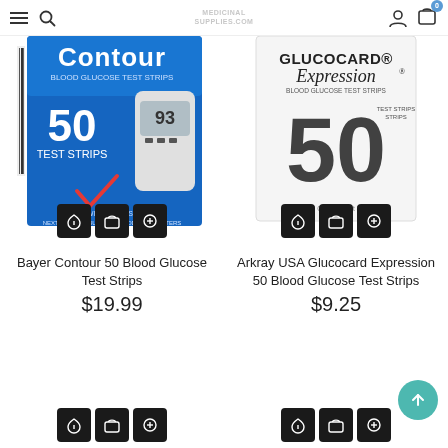Medicinal Supplies website header with navigation
[Figure (photo): Bayer Contour 50 Blood Glucose Test Strips product box, blue packaging with glucometer showing 93]
Bayer Contour 50 Blood Glucose Test Strips
$19.99
[Figure (photo): Arkray USA Glucocard Expression 50 Blood Glucose Test Strips product box, white packaging]
Arkray USA Glucocard Expression 50 Blood Glucose Test Strips
$9.25